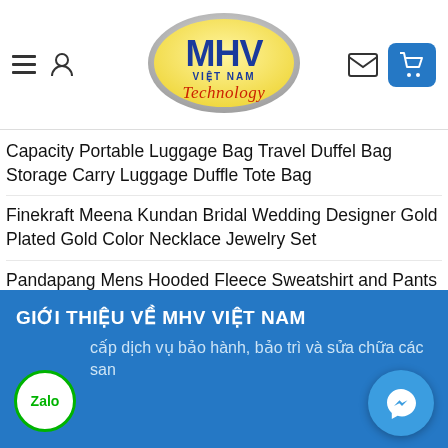[Figure (logo): MHV Việt Nam Technology logo - yellow oval with blue MHV text and red Technology script]
Capacity Portable Luggage Bag Travel Duffel Bag Storage Carry Luggage Duffle Tote Bag
Finekraft Meena Kundan Bridal Wedding Designer Gold Plated Gold Color Necklace Jewelry Set
Pandapang Mens Hooded Fleece Sweatshirt and Pants Sportwear Winter Sport Sweatsuit Set
JIAW Womens Bag Casual Fashion Womens Backpack Simple Travel Handbag
GIỚI THIỆU VỀ MHV VIỆT NAM
cấp dịch vụ bảo hành, bảo trì và sửa chữa các san